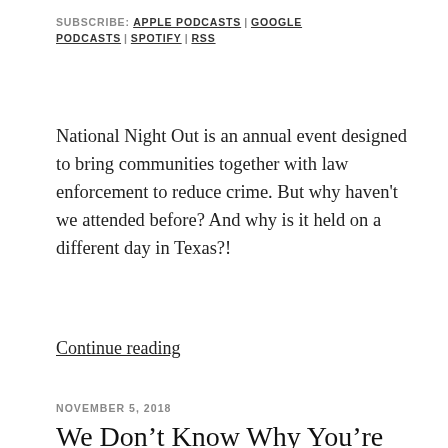SUBSCRIBE: APPLE PODCASTS | GOOGLE PODCASTS | SPOTIFY | RSS
National Night Out is an annual event designed to bring communities together with law enforcement to reduce crime. But why haven't we attended before? And why is it held on a different day in Texas?!
Continue reading
NOVEMBER 5, 2018
We Don't Know Why You're Not Voting
[Figure (photo): A hand holding a voting pamphlet/card that reads 'YOUR VOTE IS YOUR VOICE' and 'AND WEAR PROUDLY' with an American flag design on it. Background shows a wooden door and beige wall.]